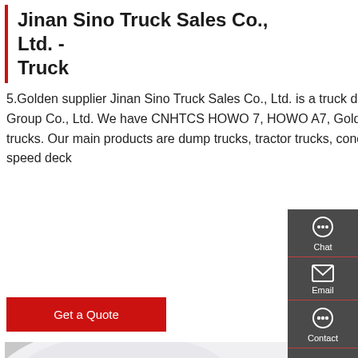Jinan Sino Truck Sales Co., Ltd. - Truck
5.Golden supplier Jinan Sino Truck Sales Co., Ltd. is a truck dealer authorized by China National Heavy Duty Truck Group Co., Ltd. We have CNHTCS HOWO 7, HOWO A7, Golden Prince, Sitaier King, HOKA H7 and New Huanghe trucks. Our main products are dump trucks, tractor trucks, concrete mixer trucks, cargo trucks, special trucks, low-speed deck
Get a Quote
[Figure (photo): Close-up photo of a truck cabin interior and engine area, showing red and white bodywork, steering wheel area, and mechanical components visible through an open hood.]